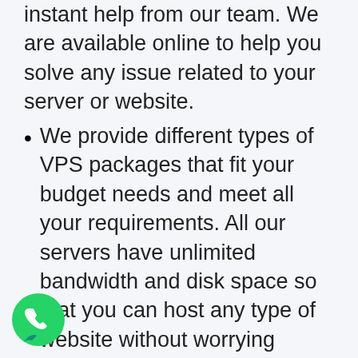instant help from our team. We are available online to help you solve any issue related to your server or website.
We provide different types of VPS packages that fit your budget needs and meet all your requirements. All our servers have unlimited bandwidth and disk space so that you can host any type of website without worrying about your site's performance or storage problems at all.
It has constructed with the latest hardware technology.
Onlive Server is construct with the latest hardware technology. It comes with high-end servers that
[Figure (logo): WhatsApp green circular button icon in bottom left corner]